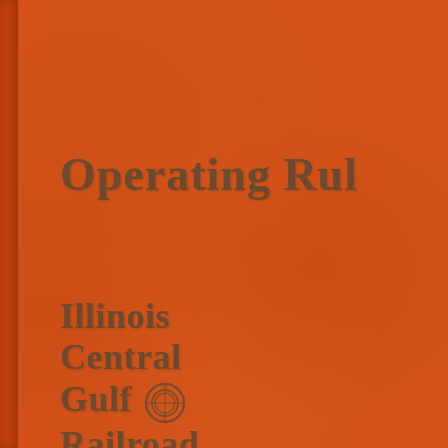[Figure (illustration): Orange textured cover of a railroad operating rules booklet with embossed leather-like surface and a spine on the left side]
Operating Rul
Illinois
Central
Gulf
Railroad